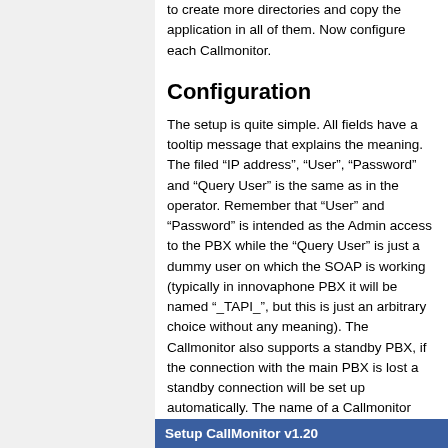to create more directories and copy the application in all of them. Now configure each Callmonitor.
Configuration
The setup is quite simple. All fields have a tooltip message that explains the meaning. The filed “IP address”, “User”, “Password” and “Query User” is the same as in the operator. Remember that “User” and “Password” is intended as the Admin access to the PBX while the “Query User” is just a dummy user on which the SOAP is working (typically in innovaphone PBX it will be named “_TAPI_”, but this is just an arbitrary choice without any meaning). The Callmonitor also supports a standby PBX, if the connection with the main PBX is lost a standby connection will be set up automatically. The name of a Callmonitor session is displayed on top of the window, if left blank in the configuration it will be displayed “innovaphone Callmonitor”.
Setup CallMonitor v1.20